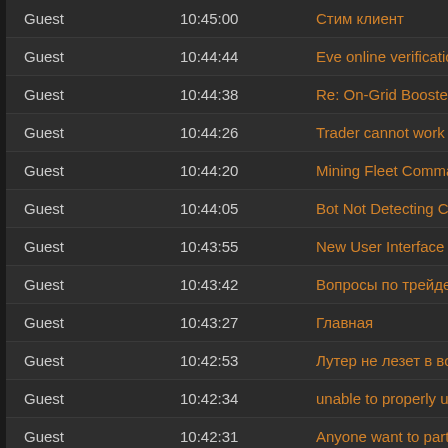| User | Time | Topic |
| --- | --- | --- |
| Guest | 10:45:00 | Стим клиент |
| Guest | 10:44:44 | Eve online verification toke |
| Guest | 10:44:38 | Re: On-Grid Booster Proje |
| Guest | 10:44:26 | Trader cannot work with n |
| Guest | 10:44:20 | Mining Fleet Commander |
| Guest | 10:44:05 | Bot Not Detecting Charact |
| Guest | 10:43:55 | New User Interface in Nov |
| Guest | 10:43:42 | Вопросы по трейдеру от |
| Guest | 10:43:27 | Главная |
| Guest | 10:42:53 | Лутер не лезет в ворота. |
| Guest | 10:42:34 | unable to properly update |
| Guest | 10:42:31 | Anyone want to partner? |
| Guest | 10:42:26 | Подписка контейнеров |
| Guest | 10:42:25 | Чего хотелось бы видеть |
| Guest | 10:42:25 | Разведка триглавиан. |
| Guest | 10:42:10 | EVE Pilot 9.9.11 |
| Guest | 10:41:57 | Обсуждение Атотрейдер |